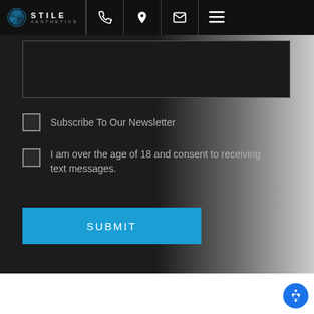[Figure (screenshot): Stile Aesthetics website navigation bar with logo, phone icon, location pin icon, email icon, and hamburger menu icon on dark background]
[Figure (screenshot): Dark-themed web form section showing a textarea input box at top]
Subscribe To Our Newsletter
I am over the age of 18 and consent to receiving text messages.
[Figure (screenshot): Blue SUBMIT button]
[Figure (screenshot): Blue circular accessibility/wheelchair icon button in bottom-right corner]